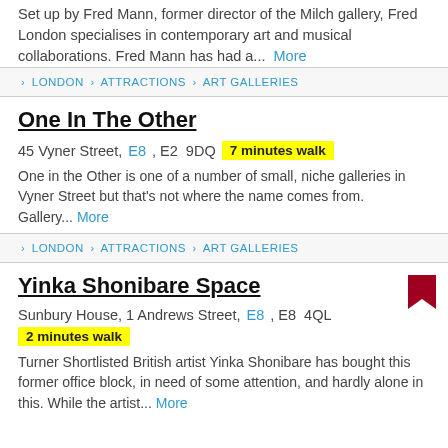Set up by Fred Mann, former director of the Milch gallery, Fred London specialises in contemporary art and musical collaborations. Fred Mann has had a... More
› LONDON › ATTRACTIONS › ART GALLERIES
One In The Other
45 Vyner Street, E8, E2 9DQ  7 minutes walk
One in the Other is one of a number of small, niche galleries in Vyner Street but that's not where the name comes from. Gallery... More
› LONDON › ATTRACTIONS › ART GALLERIES
Yinka Shonibare Space
Sunbury House, 1 Andrews Street, E8, E8 4QL
2 minutes walk
Turner Shortlisted British artist Yinka Shonibare has bought this former office block, in need of some attention, and hardly alone in this. While the artist... More